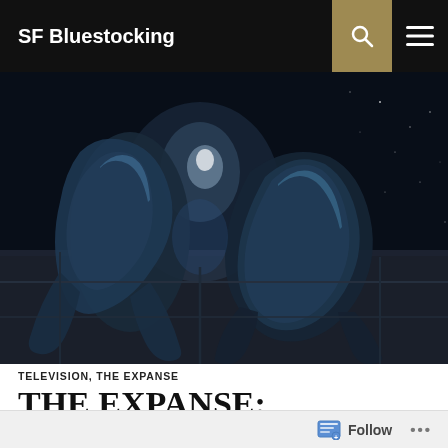SF Bluestocking
[Figure (photo): Two alien/creature figures with shiny blue-black exoskeleton bodies in a dark sci-fi environment with stars visible in the background — still from The Expanse TV show]
TELEVISION, THE EXPANSE
THE EXPANSE: “CALIBAN’S WAR” REVEALS SOME
Follow ...